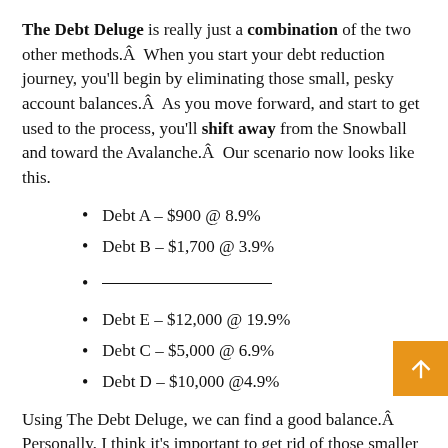The Debt Deluge is really just a combination of the two other methods.Â  When you start your debt reduction journey, you'll begin by eliminating those small, pesky account balances.Â  As you move forward, and start to get used to the process, you'll shift away from the Snowball and toward the Avalanche.Â  Our scenario now looks like this.
Debt A – $900 @ 8.9%
Debt B – $1,700 @ 3.9%
——————————
Debt E – $12,000 @ 19.9%
Debt C – $5,000 @ 6.9%
Debt D – $10,000 @4.9%
Using The Debt Deluge, we can find a good balance.Â  Personally, I think it's important to get rid of those smaller balances, as quickly as possible, but I don't like the idea of leaving (too much) money on the table.Â  The Debt Deluge gets us started, and feeling great about eliminating those first few accounts, and